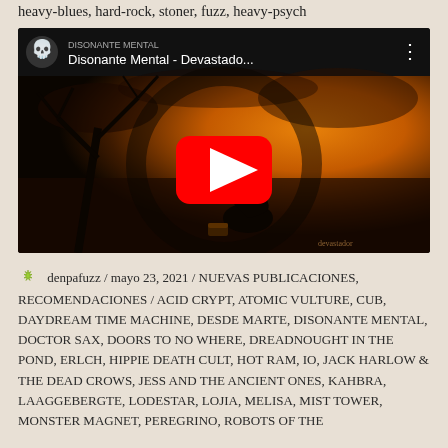heavy-blues, hard-rock, stoner, fuzz, heavy-psych
[Figure (screenshot): Embedded YouTube video thumbnail showing 'Disonante Mental - Devastado...' with a skull icon, video title, three-dot menu, and a red play button over album art depicting a wolf/figure under a dead tree with orange cloudy sky background]
denpafuzz / mayo 23, 2021 / NUEVAS PUBLICACIONES, RECOMENDACIONES / ACID CRYPT, ATOMIC VULTURE, CUB, DAYDREAM TIME MACHINE, DESDE MARTE, DISONANTE MENTAL, DOCTOR SAX, DOORS TO NO WHERE, DREADNOUGHT IN THE POND, ERLCH, HIPPIE DEATH CULT, HOT RAM, IO, JACK HARLOW & THE DEAD CROWS, JESS AND THE ANCIENT ONES, KAHBRA, LAAGGEBERGTE, LODESTAR, LOJIA, MELISA, MIST TOWER, MONSTER MAGNET, PEREGRINO, ROBOTS OF THE